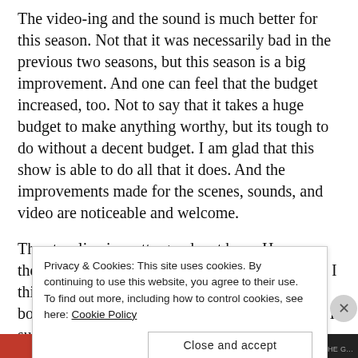The video-ing and the sound is much better for this season. Not that it was necessarily bad in the previous two seasons, but this season is a big improvement. And one can feel that the budget increased, too. Not to say that it takes a huge budget to make anything worthy, but its tough to do without a decent budget. I am glad that this show is able to do all that it does. And the improvements made for the scenes, sounds, and video are noticeable and welcome.
The storyline is pretty good – at base. However, the stuff with Zaboo and Riley is a bit too much, I think. Also, this episode involved a lot more F-bombing and trash talking. Its okay at this level, I suppose, but it lost some
Privacy & Cookies: This site uses cookies. By continuing to use this website, you agree to their use. To find out more, including how to control cookies, see here: Cookie Policy
Close and accept